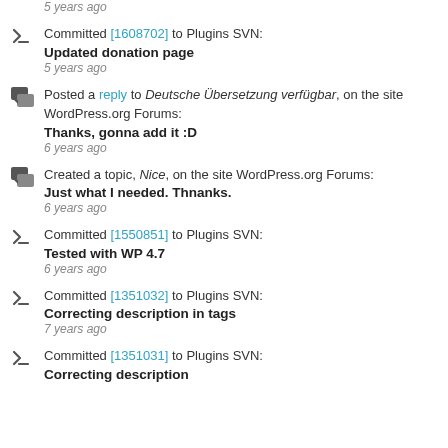5 years ago (partial, top of page)
Committed [1608702] to Plugins SVN: Updated donation page — 5 years ago
Posted a reply to Deutsche Übersetzung verfügbar, on the site WordPress.org Forums: Thanks, gonna add it :D — 6 years ago
Created a topic, Nice, on the site WordPress.org Forums: Just what I needed. Thnanks. — 6 years ago
Committed [1550851] to Plugins SVN: Tested with WP 4.7 — 6 years ago
Committed [1351032] to Plugins SVN: Correcting description in tags — 7 years ago
Committed [1351031] to Plugins SVN: Correcting description (partial)